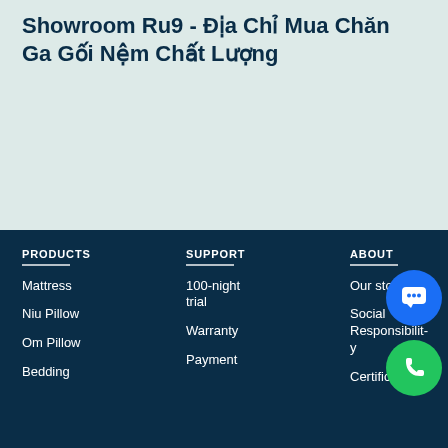Showroom Ru9 - Địa Chỉ Mua Chăn Ga Gối Nệm Chất Lượng
PRODUCTS
Mattress
Niu Pillow
Om Pillow
Bedding
SUPPORT
100-night trial
Warranty
Payment
ABOUT
Our story
Social Responsibility
Certificates